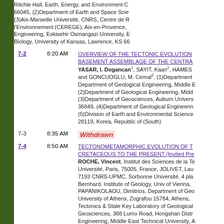Ritchie Hall, Earth, Energy, and Environment C 66045, (2)Department of Earth and Space Scie (3)Aix-Marseille Université, CNRS, Centre de R l'Environnement (CEREGE), Aix-en-Provence, Engineering, Eskisehir Osmangazi University, B Biology, University of Kansas, Lawrence, KS 66
7-2  8:20 AM  OVERVIEW OF THE TECTONIC EVOLUTION BASEMENT ASSEMBLAGE OF THE CENTRA  YASAR, I. Dogancan1, SAYIT, Kaan2, HAMES and GONCUOGLU, M. Cemal2, (1)Department Department of Geological Engineering, Middle E (2)Department of Geological Engineering, Midd (3)Department of Geosciences, Auburn Univers 36849, (4)Department of Geological Engineerin (5)Division of Earth and Environmental Science 28119, Korea, Republic of (South)
7-3  8:35 AM  Withdrawn
7-4  8:50 AM  TECTONOMETAMORPHIC EVOLUTION OF T CRETACEOUS TO THE PRESENT (Invited Pre ROCHE, Vincent, Institut des Sciences de la Te Université, Paris, 75005, France, JOLIVET, Lau 7193 CNRS-UPMC, Sorbonne Université, 4 pla Bernhard, Institute of Geology, Univ of Vienna, PAPANIKOLAOU, Dimitrios, Department of Geo University of Athens, Zografou 15784, Athens, Tectonics & State Key Laboratory of Geological Geosciences, 388 Lumo Road, Hongshan Distr Engineering, Middle East Technical University, A
9:10 AM  Break